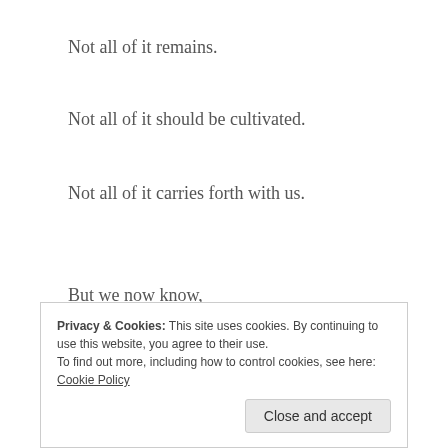Not all of it remains.
Not all of it should be cultivated.
Not all of it carries forth with us.
But we now know,
No more secrets.
Privacy & Cookies: This site uses cookies. By continuing to use this website, you agree to their use.
To find out more, including how to control cookies, see here: Cookie Policy
Close and accept